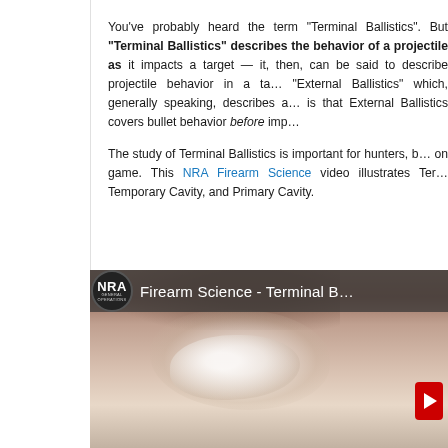You've probably heard the term "Terminal Ballistics". But "Terminal Ballistics" describes the behavior of a projectile as it impacts a target — it, then, can be said to describe projectile behavior in a target context. Compare to "External Ballistics" which, generally speaking, describes a bullet in flight. What is that External Ballistics covers bullet behavior before impact.
The study of Terminal Ballistics is important for hunters, b... on game. This NRA Firearm Science video illustrates Ter... Temporary Cavity, and Primary Cavity.
[Figure (screenshot): YouTube video thumbnail showing NRA Firearm Science - Terminal Ballistics video. Shows NRA logo badge on dark overlay bar at top with title text 'Firearm Science - Terminal B...' and a close-up image of ballistic gelatin showing bullet impact cavity with fragmentation. Red YouTube play button visible at right.]